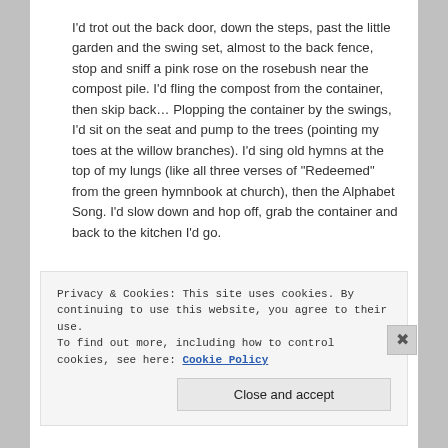I'd trot out the back door, down the steps, past the little garden and the swing set, almost to the back fence, stop and sniff a pink rose on the rosebush near the compost pile. I'd fling the compost from the container, then skip back… Plopping the container by the swings, I'd sit on the seat and pump to the trees (pointing my toes at the willow branches). I'd sing old hymns at the top of my lungs (like all three verses of "Redeemed" from the green hymnbook at church), then the Alphabet Song. I'd slow down and hop off, grab the container and back to the kitchen I'd go.
Privacy & Cookies: This site uses cookies. By continuing to use this website, you agree to their use.
To find out more, including how to control cookies, see here: Cookie Policy